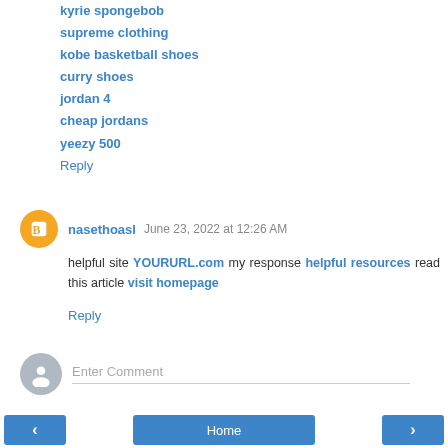kyrie spongebob
supreme clothing
kobe basketball shoes
curry shoes
jordan 4
cheap jordans
yeezy 500
Reply
nasethoasl  June 23, 2022 at 12:26 AM
helpful site YOURURL.com my response helpful resources read this article visit homepage
Reply
Enter Comment
< Home >